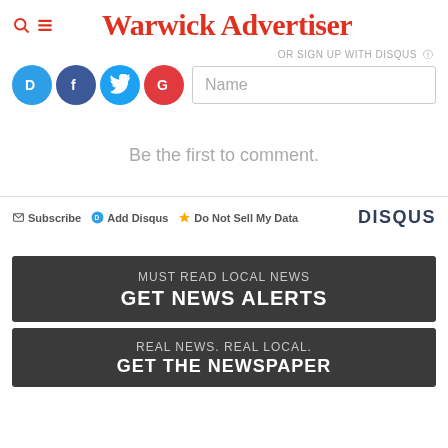Warwick Advertiser
OR SIGN UP WITH DISQUS
[Figure (logo): Social login icons: Disqus (D), Facebook (f), Twitter bird, Google (G) circles]
Name
Be the first to comment.
Subscribe  Add Disqus  Do Not Sell My Data  DISQUS
MUST READ LOCAL NEWS
GET NEWS ALERTS
REAL NEWS. REAL LOCAL.
GET THE NEWSPAPER